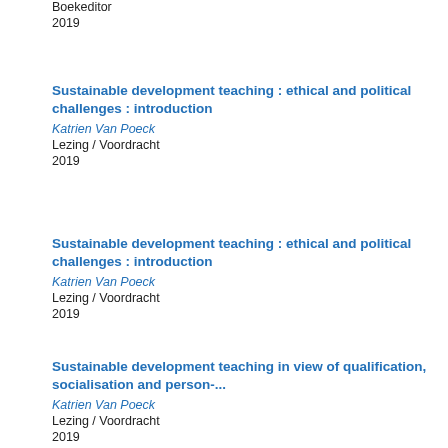Boekeditor
2019
Sustainable development teaching : ethical and political challenges : introduction
Katrien Van Poeck
Lezing / Voordracht
2019
Sustainable development teaching : ethical and political challenges : introduction
Katrien Van Poeck
Lezing / Voordracht
2019
Sustainable development teaching in view of qualification, socialisation and person-...
Katrien Van Poeck
Lezing / Voordracht
2019